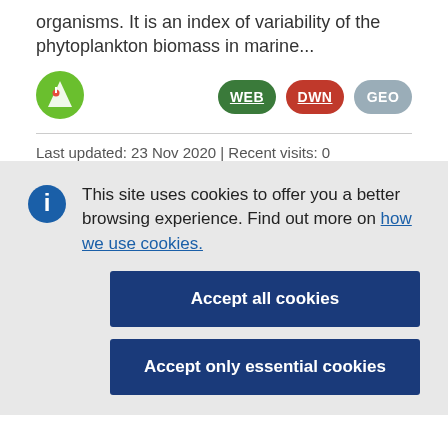organisms. It is an index of variability of the phytoplankton biomass in marine...
[Figure (logo): Green circle logo with white mountain/chart icon]
[Figure (infographic): Three oval badges: WEB (dark green, underlined), DWN (red, underlined), GEO (grey)]
Last updated: 23 Nov 2020 | Recent visits: 0
This site uses cookies to offer you a better browsing experience. Find out more on how we use cookies.
Accept all cookies
Accept only essential cookies